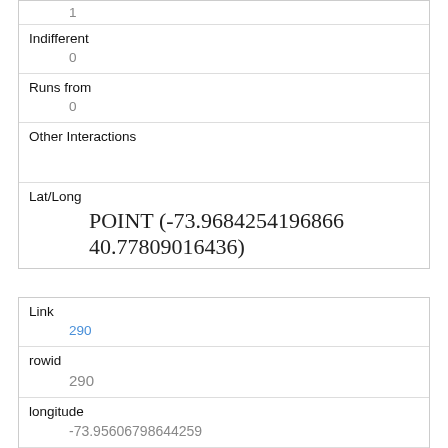|  | 1 |
| Indifferent | 0 |
| Runs from | 0 |
| Other Interactions |  |
| Lat/Long | POINT (-73.9684254196866 40.77809016436) |
| Link | 290 |
| rowid | 290 |
| longitude | -73.95606798644259 |
| latitude | 40.7947887062326 |
| Unique Squirrel ID | 37E-PM-1006-06 |
| Hectare |  |